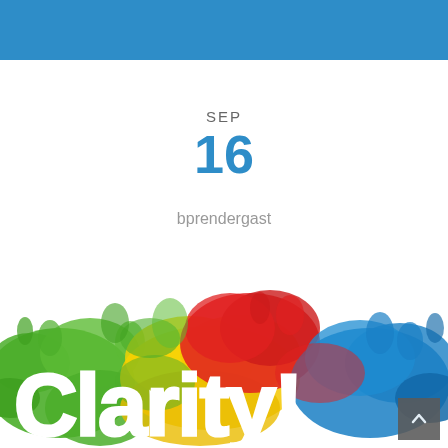SEP
16
bprendergast
0
[Figure (illustration): Colorful paint splash illustration with bold white text reading 'Clarity!' in a large font, surrounded by multicolored paint splats in green, red, yellow, blue, and other colors on a white background.]